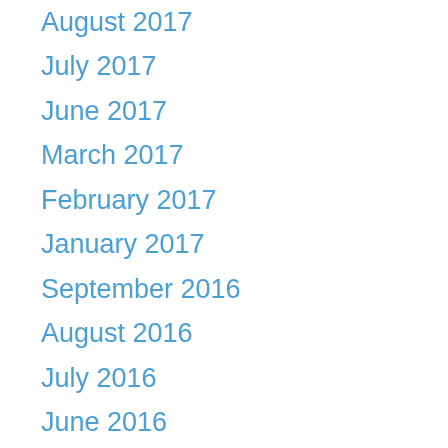August 2017
July 2017
June 2017
March 2017
February 2017
January 2017
September 2016
August 2016
July 2016
June 2016
May 2016
April 2016
March 2016
February 2016
January 2016